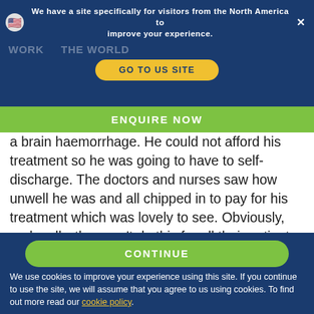We have a site specifically for visitors from the North America to improve your experience.
GO TO US SITE
ENQUIRE NOW
a brain haemorrhage. He could not afford his treatment so he was going to have to self-discharge. The doctors and nurses saw how unwell he was and all chipped in to pay for his treatment which was lovely to see. Obviously, and sadly, they can't do this for all their patients.
[Figure (photo): Photo of a person with blonde hair viewed from behind, with medical equipment including blue bottles visible in the foreground.]
CONTINUE
We use cookies to improve your experience using this site. If you continue to use the site, we will assume that you agree to us using cookies. To find out more read our cookie policy.